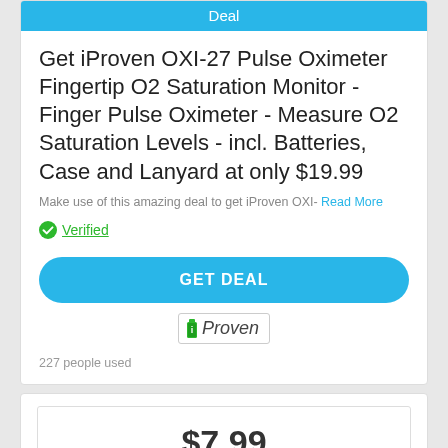Deal
Get iProven OXI-27 Pulse Oximeter Fingertip O2 Saturation Monitor - Finger Pulse Oximeter - Measure O2 Saturation Levels - incl. Batteries, Case and Lanyard at only $19.99
Make use of this amazing deal to get iProven OXI-... Read More
Verified
GET DEAL
[Figure (logo): iProven brand logo with green battery icon]
227 people used
$7.99